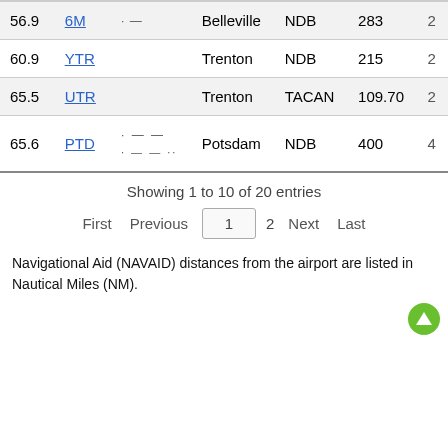| Dist | ID | Morse | Name | Type | Freq |  |
| --- | --- | --- | --- | --- | --- | --- |
| 56.9 | 6M | · — | Belleville | NDB | 283 | 2 |
| 60.9 | YTR |  | Trenton | NDB | 215 | 2 |
| 65.5 | UTR |  | Trenton | TACAN | 109.70 | 2 |
| 65.6 | PTD | · — —
· — — ·· | Potsdam | NDB | 400 | 4 |
Showing 1 to 10 of 20 entries
First  Previous  1  2  Next  Last
Navigational Aid (NAVAID) distances from the airport are listed in Nautical Miles (NM).